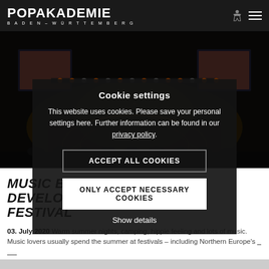POPAKADEMIE BADEN-WÜRTTEMBERG
[Figure (photo): Dark concert/festival stage photo with lights and crowd in background]
Cookie settings
This website uses cookies. Please save your personal settings here. Further information can be found in our privacy policy.
ACCEPT ALL COOKIES
ONLY ACCEPT NECESSARY COOKIES
Show details
MUSIC BUSINESS STUDENTS DEVELOP CONCEPT FOR DIY FESTIVAL
03. July 2020 Warm summer nights, camping, hippie feeling and lots of music. Music lovers usually spend the summer at festivals – including Northern Europe's _ _ _